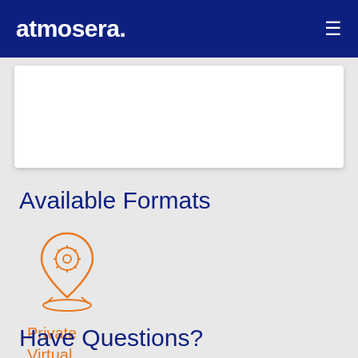atmosera.
[Figure (other): White content card area partially visible at top of page]
Available Formats
[Figure (illustration): Orange location pin icon with gear/settings symbol inside, with oval shadow base below]
Private Virtual
Have Questions?